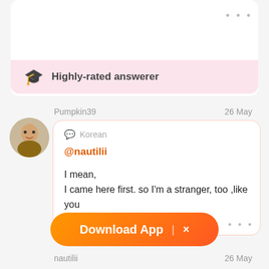[Figure (screenshot): Partial top card with three-dots menu icon]
Highly-rated answerer
Pumpkin39
26 May
Korean
@nautilii
I mean,
I came here first. so I'm a stranger, too ,like you
See a translation
Download App  |  ×
nautilii
26 May